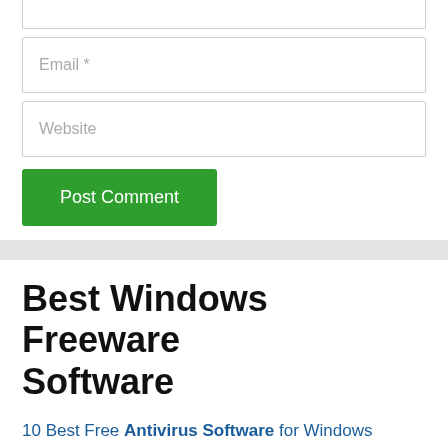[Figure (screenshot): Partial form input box showing top edge of a text field (cropped at top)]
[Figure (screenshot): Email input field with placeholder text 'Email *']
[Figure (screenshot): Website input field with placeholder text 'Website']
[Figure (screenshot): Green 'Post Comment' button]
Best Windows Freeware Software
10 Best Free Antivirus Software for Windows
5 Best Free Firewall Software for Windows
10 Best Free Malware Scanner &